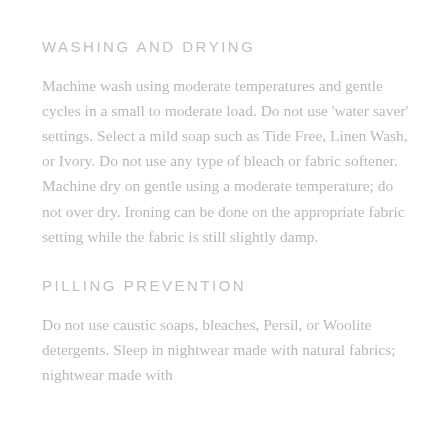WASHING AND DRYING
Machine wash using moderate temperatures and gentle cycles in a small to moderate load. Do not use ‘water saver’ settings. Select a mild soap such as Tide Free, Linen Wash, or Ivory. Do not use any type of bleach or fabric softener. Machine dry on gentle using a moderate temperature; do not over dry. Ironing can be done on the appropriate fabric setting while the fabric is still slightly damp.
PILLING PREVENTION
Do not use caustic soaps, bleaches, Persil, or Woolite detergents. Sleep in nightwear made with natural fabrics; nightwear made with synthetic fibers creates a lot of heat and friction for bedding.